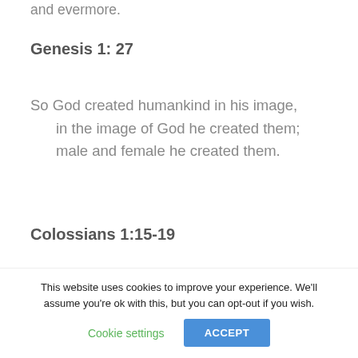and evermore.
Genesis 1: 27
So God created humankind in his image,
    in the image of God he created them;
    male and female he created them.
Colossians 1:15-19
He is the image of the invisible God, the firstborn of all creation; for in him all things in heaven and on earth were created, things
This website uses cookies to improve your experience. We'll assume you're ok with this, but you can opt-out if you wish.
Cookie settings
ACCEPT